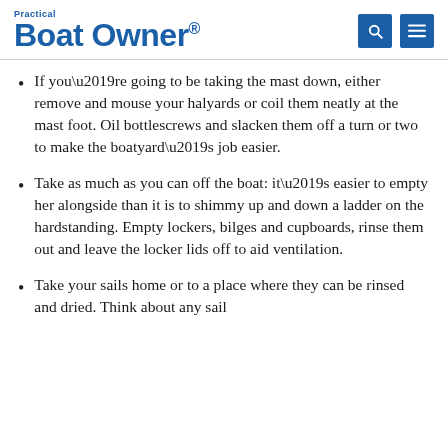Practical Boat Owner
If you’re going to be taking the mast down, either remove and mouse your halyards or coil them neatly at the mast foot. Oil bottlescrews and slacken them off a turn or two to make the boatyard’s job easier.
Take as much as you can off the boat: it’s easier to empty her alongside than it is to shimmy up and down a ladder on the hardstanding. Empty lockers, bilges and cupboards, rinse them out and leave the locker lids off to aid ventilation.
Take your sails home or to a place where they can be rinsed and dried. Think about any sail